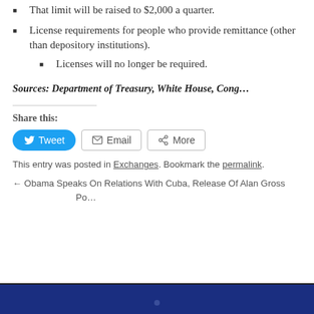That limit will be raised to $2,000 a quarter.
License requirements for people who provide remittance (other than depository institutions).
Licenses will no longer be required.
Sources: Department of Treasury, White House, Cong…
Share this:
Tweet  Email  More
This entry was posted in Exchanges. Bookmark the permalink.
← Obama Speaks On Relations With Cuba, Release Of Alan Gross    Po…